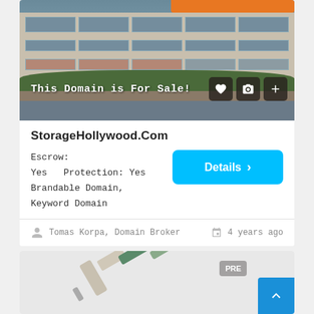[Figure (photo): Photograph of a storage facility building with orange signage at top, multi-story facade with large windows, trees in foreground; overlaid text 'This Domain is For Sale!' with heart, camera, and plus icon buttons]
StorageHollywood.Com
Escrow: Yes   Protection: Yes
Brandable Domain, Keyword Domain
Details >
Tomas Korpa, Domain Broker
4 years ago
[Figure (photo): Partial view of a spark plug on light background; PRE badge visible in top right corner with a blue scroll-to-top arrow button]